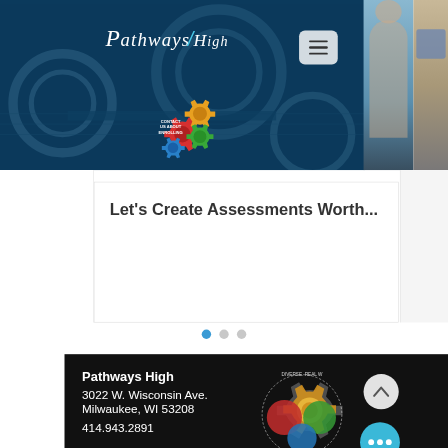[Figure (screenshot): Pathways High school website header with dark blue background showing gear graphics, white logo text 'Pathways High', hamburger menu button, and a colorful gear graphic reading 'Contact Us About Enrolling']
Let's Create Assessments Worth...
[Figure (other): Carousel pagination dots: three dots, first one active (blue), others grey]
Pathways High
3022 W. Wisconsin Ave.
Milwaukee, WI 53208
414.943.2891